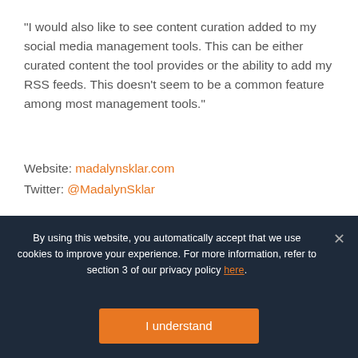"I would also like to see content curation added to my social media management tools. This can be either curated content the tool provides or the ability to add my RSS feeds. This doesn't seem to be a common feature among most management tools."
Website: madalynsklar.com
Twitter: @MadalynSklar
[Figure (photo): Headshot photo of a man with glasses and short dark hair wearing a dark shirt]
By using this website, you automatically accept that we use cookies to improve your experience. For more information, refer to section 3 of our privacy policy here.
I understand